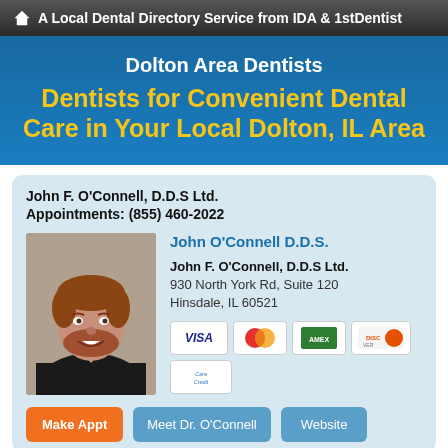A Local Dental Directory Service from IDA & 1stDentist
Dolton Area Dentists
Dentists for Convenient Dental Care in Your Local Dolton, IL Area
John F. O'Connell, D.D.S Ltd.
Appointments: (855) 460-2022
[Figure (photo): Headshot photo of Dr. John O'Connell, a man with reddish hair and beard wearing a dark jacket]
John O'Connell D.D.S.
John F. O'Connell, D.D.S Ltd.
930 North York Rd, Suite 120
Hinsdale, IL 60521
[Figure (other): Payment method icons: VISA, MasterCard, American Express, Discover, CareCredit]
Make Appt   Meet Dr. O'Connell   Website
more info ...